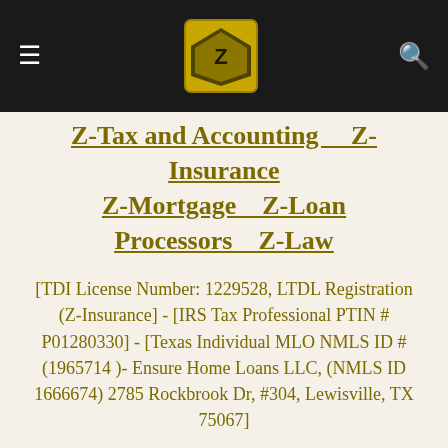≡ [logo] 🔍
Z-Tax and Accounting   Z-Insurance   Z-Mortgage   Z-Loan Processors   Z-Law
[TDI License Number: 1229528, LTDL Registration (Z-Insurance] - [IRS Tax Professional PTIN # P01280330] - [Texas Individual MLO NMLS ID # (1965714 )- Ensure Home Loans LLC, (NMLS ID 1666674) 2785 Rockbrook Dr, #304, Lewisville, TX 75067]
www.ZarakGroup.com